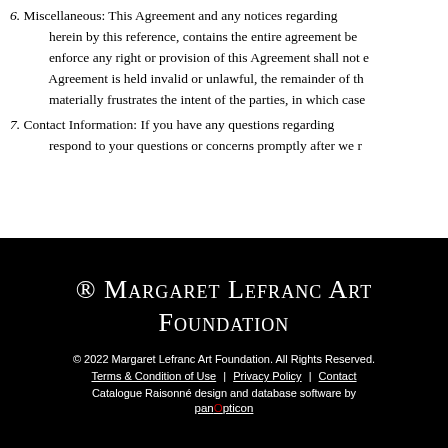6. Miscellaneous: This Agreement and any notices regarding herein by this reference, contains the entire agreement be enforce any right or provision of this Agreement shall not Agreement is held invalid or unlawful, the remainder of th materially frustrates the intent of the parties, in which case
7. Contact Information: If you have any questions regarding respond to your questions or concerns promptly after we r
® Margaret Lefranc Art Foundation
© 2022 Margaret Lefranc Art Foundation. All Rights Reserved.
Terms & Condition of Use | Privacy Policy | Contact
Catalogue Raisonné design and database software by panOpticon